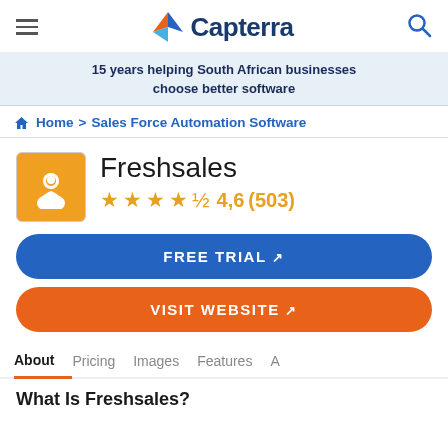Capterra
15 years helping South African businesses choose better software
Home > Sales Force Automation Software
Freshsales
4,6 (503)
FREE TRIAL
VISIT WEBSITE
About  Pricing  Images  Features  A…
What Is Freshsales?